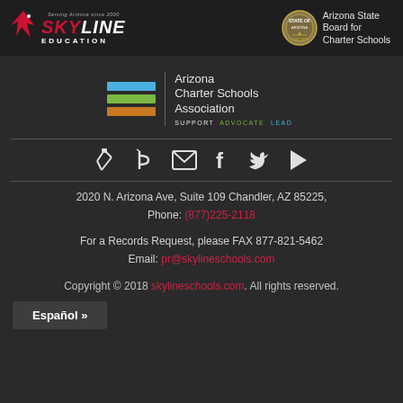[Figure (logo): Skyline Education logo with red bird and text, 'Serving Arizona since 2000']
[Figure (logo): Arizona State Board for Charter Schools seal and text]
[Figure (logo): Arizona Charter Schools Association logo with colored bars and tagline 'SUPPORT. ADVOCATE. LEAD.']
[Figure (infographic): Social media icons: phone/app, Bitly, email, Facebook, Twitter, YouTube/play button]
2020 N. Arizona Ave, Suite 109 Chandler, AZ 85225, Phone: (877)225-2118
For a Records Request, please FAX 877-821-5462 Email: pr@skylineschools.com
Copyright © 2018 skylineschools.com. All rights reserved.
Español »